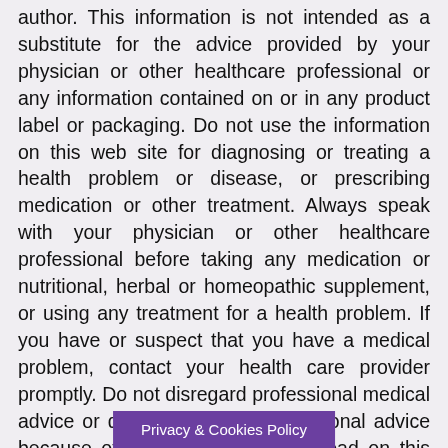author. This information is not intended as a substitute for the advice provided by your physician or other healthcare professional or any information contained on or in any product label or packaging. Do not use the information on this web site for diagnosing or treating a health problem or disease, or prescribing medication or other treatment. Always speak with your physician or other healthcare professional before taking any medication or nutritional, herbal or homeopathic supplement, or using any treatment for a health problem. If you have or suspect that you have a medical problem, contact your health care provider promptly. Do not disregard professional medical advice or delay in seeking professional advice because of something you have read on this web site. Information pro... e and the
Privacy & Cookies Policy